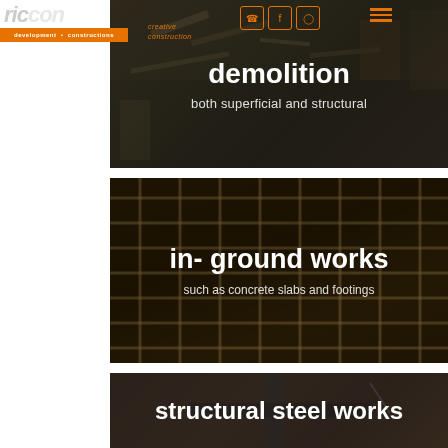[Figure (photo): Riccon logo with orange bar reading 'development constructions', nav icons, hamburger menu]
demolition
both superficial and structural
[Figure (photo): In-ground concrete slab reinforcement grid viewed from above]
in- ground works
such as concrete slabs and footings
[Figure (photo): Structural steel beams and columns under construction against grey sky]
structural steel works